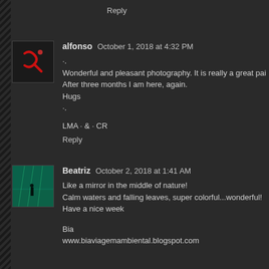Reply
[Figure (illustration): Avatar for user alfonso: dark background with red stylized letter or symbol]
alfonso  October 1, 2018 at 4:32 PM
·.
Wonderful and pleasant photography. It is really a great pai
After three months I am here, again.
Hugs
·.
LMA · & · CR
Reply
[Figure (photo): Avatar for user Beatriz: underwater or nature scene with figure standing, teal/green tones]
Beatriz  October 2, 2018 at 1:41 AM
Like a mirror in the middle of nature!
Calm waters and falling leaves, super colorful...wonderful!
Have a nice week
Bia
www.biaviagemambiental.blogspot.com